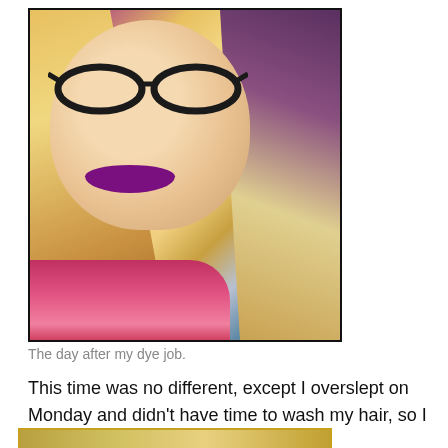[Figure (photo): Selfie of a smiling woman with blonde and purple hair, black-framed glasses, purple lipstick, and a pink/red fur coat, taken in a car.]
The day after my dye job.
This time was no different, except I overslept on Monday and didn't have time to wash my hair, so I threw it up in a bun.
[Figure (photo): Partial bottom image, appears to be a hair photo, cropped at page edge.]